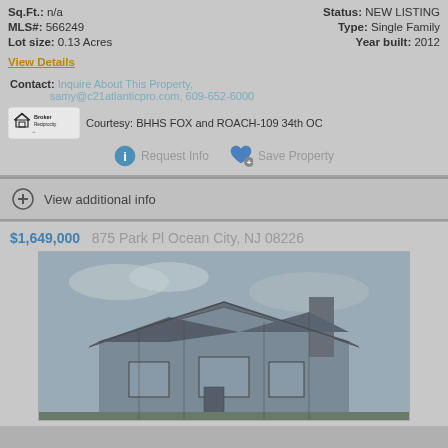Sq.Ft.: n/a   Status: NEW LISTING
MLS#: 566249   Type: Single Family
Lot size: 0.13 Acres   Year built: 2012
View Details
Contact: Inquire About This Property, samy@c21atlanticpro.com, 609-652-6000
Courtesy: BHHS FOX and ROACH-109 34th OC
Request Info   Save Property
View additional info
$1,649,000  875 Park Pl Ocean City, NJ 08226
[Figure (photo): Exterior photo of a modern single-family home with angular roofline and large windows, photographed against an overcast sky.]